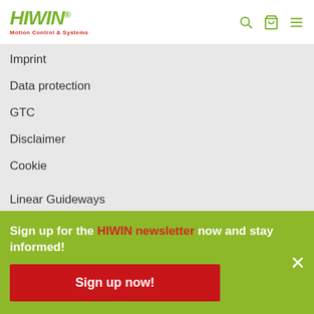HIWIN® Motion Control & Systems
Imprint
Data protection
GTC
Disclaimer
Cookie
Linear Guideways
Ballscrews
Linear axes
Multi-axis systems
Linear motors
Torque motors
Machine tools
Sign up for the HIWIN newsletter now and stay informed!
Sign up now!